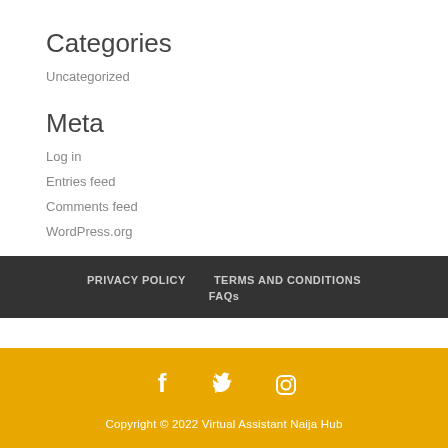Categories
Uncategorized
Meta
Log in
Entries feed
Comments feed
WordPress.org
PRIVACY POLICY   TERMS AND CONDITIONS   FAQs
[Figure (other): Social media icons: Facebook, Twitter, Instagram]
Copyright © 2022 Virtual Assistant Naija Hub